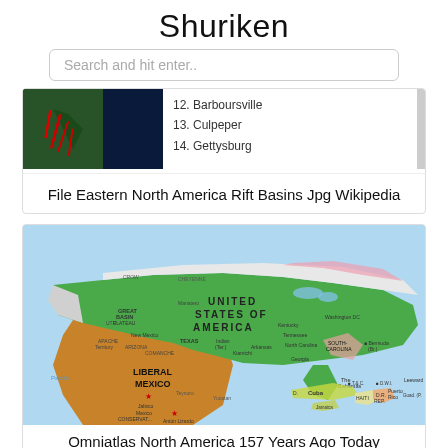Shuriken
Search and hit enter..
[Figure (photo): Satellite/aerial photograph showing Eastern North America rift basins with red marks, dark blue ocean]
12. Barboursville
13. Culpeper
14. Gettysburg
File Eastern North America Rift Basins Jpg Wikipedia
[Figure (map): Map of North America circa mid-1800s showing United States of America in green, Liberal Mexico in brown, with labels for regions including Great Basin, Apache Territory, ARIZONA, COMANCHE, Bermuda, The Bahamas, Cuba, Haiti, D.R., Puerto Rico, Leeward, Guad., T.&C., D.W.I.]
Omniatlas North America 157 Years Ago Today Secession Of